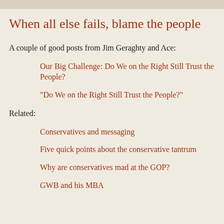When all else fails, blame the people
A couple of good posts from Jim Geraghty and Ace:
Our Big Challenge: Do We on the Right Still Trust the People?
"Do We on the Right Still Trust the People?"
Related:
Conservatives and messaging
Five quick points about the conservative tantrum
Why are conservatives mad at the GOP?
GWB and his MBA